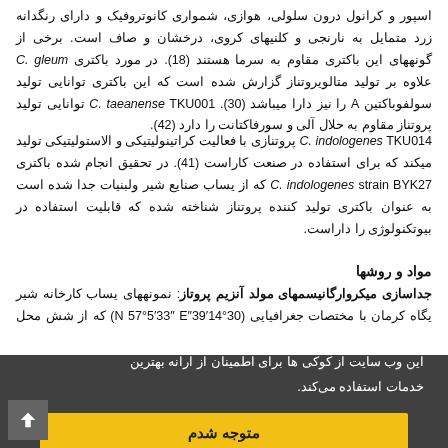اسپور و کرانول درون سلولی، هوازی، شمواری کانوتروفیک و دارای رنگدانه زرد متمایل به نارنجی و کلنیهای کروی، درخشان و صاف است. برخی از گونههای این باکتری مقاوم به سرما هستند (18). در مورد باکتری C. gleum علاوه بر تولید متالویروتناز گزارش شده است که این باکتری توانایی تولید سولفوباکتین A را نیز دارا میباشد (30). C. taeanense TKU001 توانایی تولید پروتناز مقاوم به حلال آلی و سورفاکتانت را دارد (42).
C. indologenes TKU014 پروتنازی با فعالیت کراتینولیتیکی و الاستولیتیکی تولید میکند که برای استفاده در صنعت کاراست (41). در تحقیق انجام شده باکتری C. indologenes strain BYK27 که از یساب صنایع شیر ولبنیات جدا شده است به عنوان باکتری تولید کننده پروتناز شناخته شده که قابلیت استفاده در بیوتکنولوژی را داراست.
مواد و روشها
جداسازی میکروارگانیسمهای مولد آنزیم پروتاز: نمونههای یساب کارخانه شیر یگاه کرمان با مختصات جغرافیایی (N 57°5′33″ E″39′14°30) که از شش محل انتقال شد، سپس در و در ارلنهای حاوی کراد انکوباتور 1 میکرولیتر از این داده شد. پلیتها می که بزرگترین ب شده و
این وب سایت از کوکی ها برای اطمینان از ارانه بهترین خدمات استفاده می‌کند.
متوجه شدم